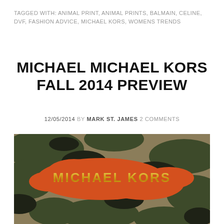TAGGED WITH: ANIMAL PRINT, ANIMAL PRINTS, BALMAIN, CELINE, DVF, FASHION ADVICE, MICHAEL KORS, WOMENS TRENDS
MICHAEL MICHAEL KORS FALL 2014 PREVIEW
12/05/2014 BY MARK ST. JAMES 2 COMMENTS
[Figure (photo): Close-up photo of a Michael Kors camouflage-pattern bag with a gold 'MICHAEL KORS' logo plate on an orange camouflage patch against olive/dark green and tan camo fabric background.]